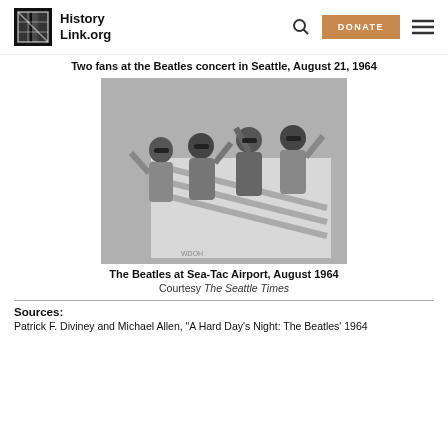HistoryLink.org
Two fans at the Beatles concert in Seattle, August 21, 1964
[Figure (photo): Black and white photo of The Beatles waving at Sea-Tac Airport, August 1964. Four members are visible on airplane stairs, wearing sunglasses and casual/semi-formal attire.]
The Beatles at Sea-Tac Airport, August 1964
Courtesy The Seattle Times
Sources:
Patrick F. Diviney and Michael Allen, "A Hard Day's Night: The Beatles' 1964